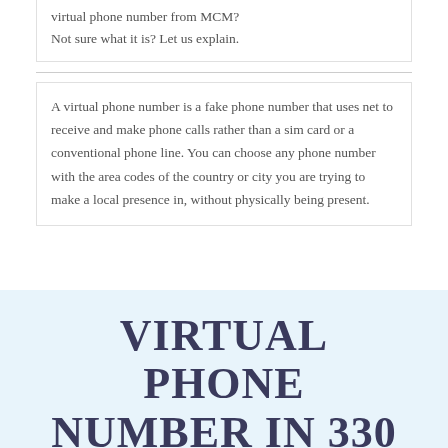virtual phone number from MCM? Not sure what it is? Let us explain.
A virtual phone number is a fake phone number that uses net to receive and make phone calls rather than a sim card or a conventional phone line. You can choose any phone number with the area codes of the country or city you are trying to make a local presence in, without physically being present.
VIRTUAL PHONE NUMBER IN 330 AREA CODE